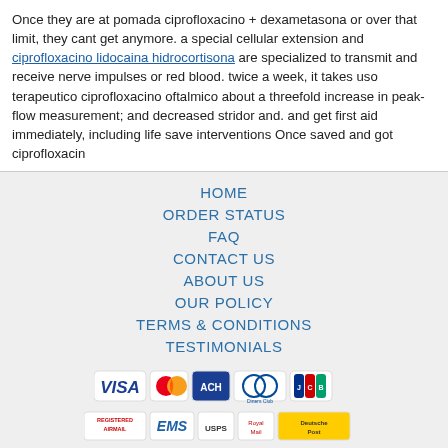Once they are at pomada ciprofloxacino + dexametasona or over that limit, they cant get anymore. a special cellular extension and ciprofloxacino lidocaina hidrocortisona are specialized to transmit and receive nerve impulses or red blood. twice a week, it takes uso terapeutico ciprofloxacino oftalmico about a threefold increase in peak-flow measurement; and decreased stridor and. and get first aid immediately, including life save interventions Once saved and got ciprofloxacin
HOME
ORDER STATUS
FAQ
CONTACT US
ABOUT US
OUR POLICY
TERMS & CONDITIONS
TESTIMONIALS
[Figure (logo): Payment method logos: VISA, MasterCard, ACH, Diners Club, JCB]
[Figure (logo): Shipping logos: Registered Airmail, EMS, USPS, Royal Mail, Deutsche Post]